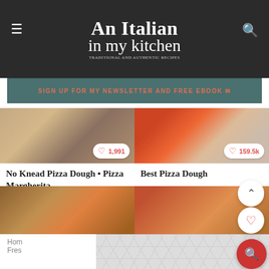An Italian in my kitchen
SIGN UP FOR MY NEWSLETTER AND FREE EBOOK ✉
[Figure (photo): Pizza dough photo with heart badge showing 1,991 saves]
No Knead Pizza Dough • Pizza Margherita
[Figure (photo): Best pizza dough photo with heart badge showing 159.5k saves]
Best Pizza Dough
[Figure (photo): Pizza photo with heart badge showing 1,019 saves]
[Figure (photo): Pizza photo with heart badge showing 2,315 saves and count 3,724]
Home Fresh